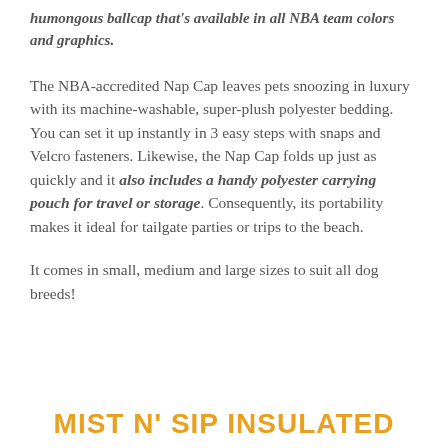humongous ballcap that's available in all NBA team colors and graphics.
The NBA-accredited Nap Cap leaves pets snoozing in luxury with its machine-washable, super-plush polyester bedding. You can set it up instantly in 3 easy steps with snaps and Velcro fasteners. Likewise, the Nap Cap folds up just as quickly and it also includes a handy polyester carrying pouch for travel or storage. Consequently, its portability makes it ideal for tailgate parties or trips to the beach.
It comes in small, medium and large sizes to suit all dog breeds!
MIST N' SIP INSULATED